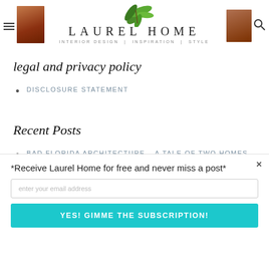LAUREL HOME | INTERIOR DESIGN | INSPIRATION | STYLE
legal and privacy policy
DISCLOSURE STATEMENT
Recent Posts
BAD FLORIDA ARCHITECTURE – A TALE OF TWO HOMES
COST-SAVING DECORATING TRICKS AND WHEN TO SPLURGE
THE NEW LAUREL HOME WEBSITE PREVIEW!
*Receive Laurel Home for free and never miss a post*
enter your email address
YES! GIMME THE SUBSCRIPTION!